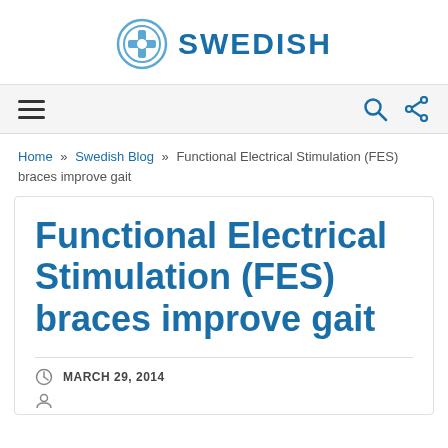SWEDISH
Home » Swedish Blog » Functional Electrical Stimulation (FES) braces improve gait
Functional Electrical Stimulation (FES) braces improve gait
MARCH 29, 2014